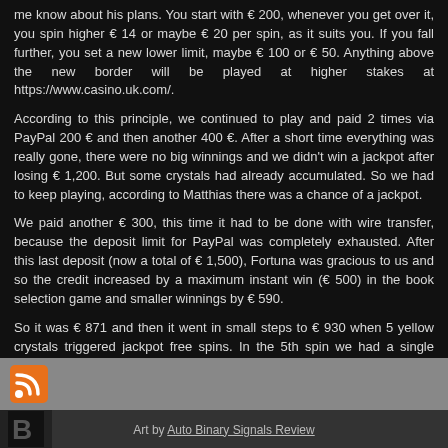me know about his plans. You start with € 200, whenever you get over it, you spin higher € 14 or maybe € 20 per spin, as it suits you. If you fall further, you set a new lower limit, maybe € 100 or € 50. Anything above the new border will be played at higher stakes at https://www.casino.uk.com/.
According to this principle, we continued to play and paid 2 times via PayPal 200 € and then another 400 €. After a short time everything was really gone, there were no big winnings and we didn't win a jackpot after losing € 1,200. But some crystals had already accumulated. So we had to keep playing, according to Matthias there was a chance of a jackpot.
We paid another € 300, this time it had to be done with wire transfer, because the deposit limit for PayPal was completely exhausted. After this last deposit (now a total of € 1,500), Fortuna was gracious to us and so the credit increased by a maximum instant win (€ 500) in the book selection game and smaller winnings by € 590.
So it was € 871 and then it went in small steps to € 930 when 5 yellow crystals triggered jackpot free spins. In the 5th spin we had a single Super Mega Big Win of € 1,260, the free spins then brought the total credit to € 2,546. Not bad, but we still hadn't won a jackpot.
Posted in Casino | No Comments »
Art by Auto Binary Signals Review